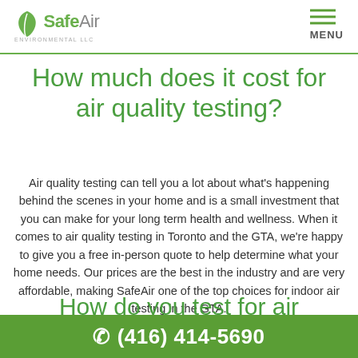SafeAir Environmental LLC | MENU
How much does it cost for air quality testing?
Air quality testing can tell you a lot about what's happening behind the scenes in your home and is a small investment that you can make for your long term health and wellness. When it comes to air quality testing in Toronto and the GTA, we're happy to give you a free in-person quote to help determine what your home needs. Our prices are the best in the industry and are very affordable, making SafeAir one of the top choices for indoor air testing in the GTA.
How do you test for air
(416) 414-5690